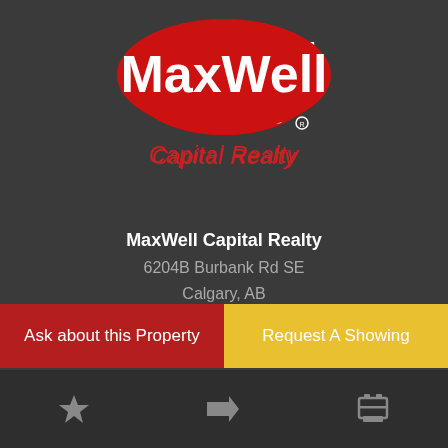[Figure (logo): MaxWell Capital Realty logo: red oval with white MaxWell text, and 'Capital Realty' in red italic below]
MaxWell Capital Realty
6204B Burbank Rd SE
Calgary, AB
T2H 2C2
1-403-700-3232
Ask about this Property
Request A Showing